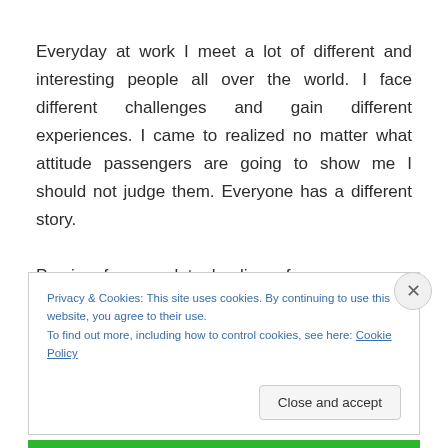Everyday at work I meet a lot of different and interesting people all over the world. I face different challenges and gain different experiences. I came to realized no matter what attitude passengers are going to show me I should not judge them. Everyone has a different story.
Praying for complete healing of my passenger whom despite of her situation she remains grateful in life. And
Privacy & Cookies: This site uses cookies. By continuing to use this website, you agree to their use.
To find out more, including how to control cookies, see here: Cookie Policy
Close and accept